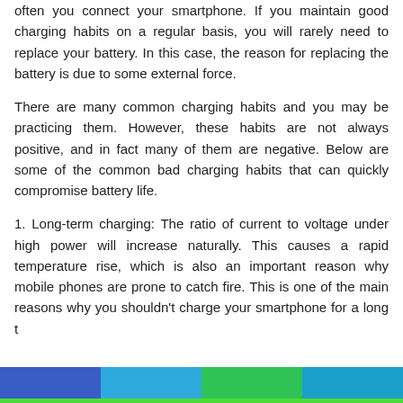often you connect your smartphone. If you maintain good charging habits on a regular basis, you will rarely need to replace your battery. In this case, the reason for replacing the battery is due to some external force.
There are many common charging habits and you may be practicing them. However, these habits are not always positive, and in fact many of them are negative. Below are some of the common bad charging habits that can quickly compromise battery life.
1. Long-term charging: The ratio of current to voltage under high power will increase naturally. This causes a rapid temperature rise, which is also an important reason why mobile phones are prone to catch fire. This is one of the main reasons why you shouldn't charge your smartphone for a long t...